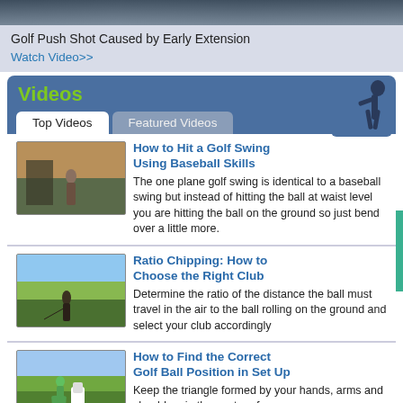[Figure (photo): Top banner photo strip of a golf scene]
Golf Push Shot Caused by Early Extension
Watch Video>>
Videos
How to Hit a Golf Swing Using Baseball Skills — The one plane golf swing is identical to a baseball swing but instead of hitting the ball at waist level you are hitting the ball on the ground so just bend over a little more.
Ratio Chipping: How to Choose the Right Club — Determine the ratio of the distance the ball must travel in the air to the ball rolling on the ground and select your club accordingly
How to Find the Correct Golf Ball Position in Set Up — Keep the triangle formed by your hands, arms and shoulders in the center of